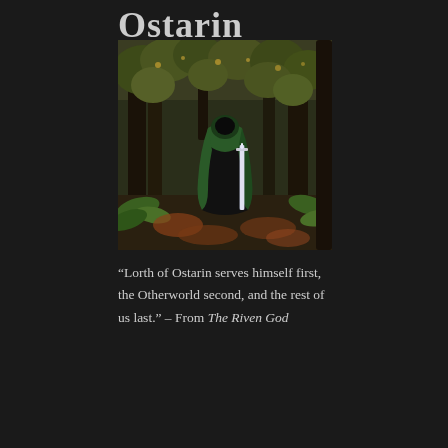Ostarin
[Figure (illustration): Fantasy illustration of a dark-cloaked figure with a green hood standing in a dense, mystical forest, holding a glowing sword. The forest is painted in rich greens, browns, and golds with ferns and foliage on the ground.]
“Lorth of Ostarin serves himself first, the Otherworld second, and the rest of us last.” – From The Riven God